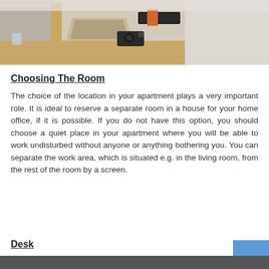[Figure (photo): Photo of a home office desk area with wooden desk surface, laptop, black device/hard drive, and a camera. Light colored walls in background.]
Choosing  The Room
The choice of the location in your apartment plays a very important role. It is ideal to reserve a separate room in a house for your home office, if it is possible. If you do not have this option, you should choose a quiet place in your apartment where you will be able to work undisturbed without anyone or anything bothering you. You can separate the work area, which is situated e.g. in the living room, from the rest of the room by a screen.
Desk